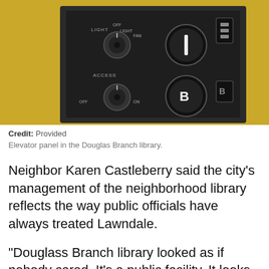[Figure (photo): Elevator panel inside the Douglas Branch library, showing control buttons labeled LIGHT (OFF, LIGHT, FAN), ACCESS, with circular dial controls and rectangular indicator buttons on a dark panel against a gold/yellow wall.]
Credit: Provided
Elevator panel in the Douglas Branch library.
Neighbor Karen Castleberry said the city's management of the neighborhood library reflects the way public officials have always treated Lawndale.
“Douglass Branch library looked as if nobody cared. It’s a public facility. It looks just like our neighborhood looks — it’s been disinvested. The city didn’t care about us,” Castleberry said.